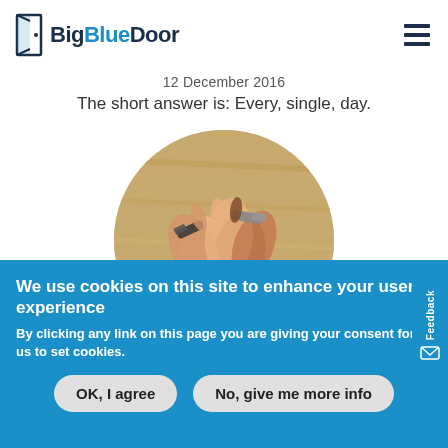BigBlueDoor
12 December 2016
The short answer is: Every, single, day.
[Figure (photo): Circular cropped photo of multiple hands stacked together on a wooden surface, various wristwatches visible]
Feedback
We use cookies on this site to enhance your user experience
By clicking any link on this page you are giving your consent for us to set cookies.
OK, I agree
No, give me more info